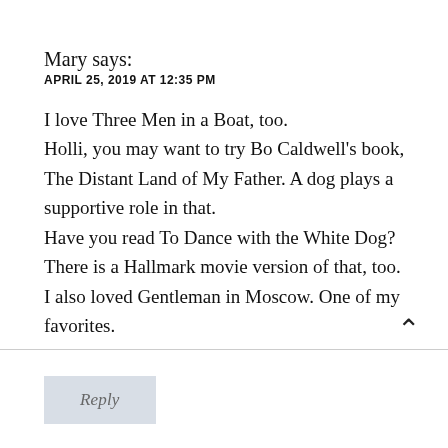Mary says:
APRIL 25, 2019 AT 12:35 PM
I love Three Men in a Boat, too.
Holli, you may want to try Bo Caldwell's book, The Distant Land of My Father. A dog plays a supportive role in that.
Have you read To Dance with the White Dog? There is a Hallmark movie version of that, too.
I also loved Gentleman in Moscow. One of my favorites.
Reply